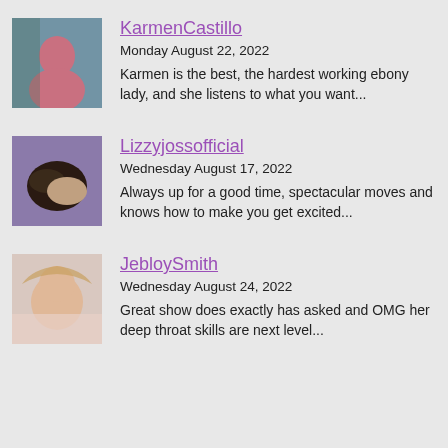[Figure (photo): Thumbnail photo of KarmenCastillo]
KarmenCastillo
Monday August 22, 2022
Karmen is the best, the hardest working ebony lady, and she listens to what you want...
[Figure (photo): Thumbnail photo of Lizzyjossofficial]
Lizzyjossofficial
Wednesday August 17, 2022
Always up for a good time, spectacular moves and knows how to make you get excited...
[Figure (photo): Thumbnail photo of JebloySmith]
JebloySmith
Wednesday August 24, 2022
Great show does exactly has asked and OMG her deep throat skills are next level...